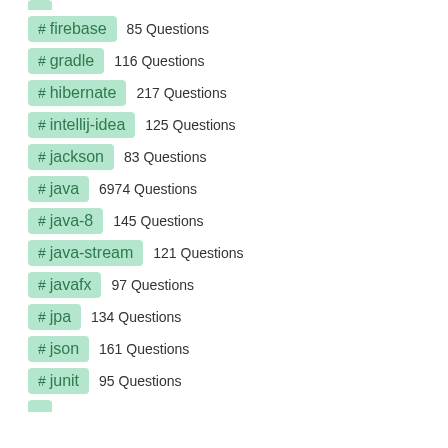# firebase  85 Questions
# gradle  116 Questions
# hibernate  217 Questions
# intellij-idea  125 Questions
# jackson  83 Questions
# java  6974 Questions
# java-8  145 Questions
# java-stream  121 Questions
# javafx  97 Questions
# jpa  134 Questions
# json  161 Questions
# junit  95 Questions